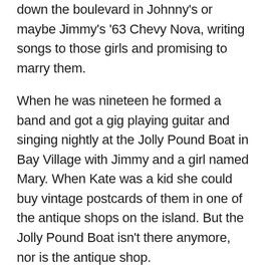down the boulevard in Johnny's or maybe Jimmy's '63 Chevy Nova, writing songs to those girls and promising to marry them.
When he was nineteen he formed a band and got a gig playing guitar and singing nightly at the Jolly Pound Boat in Bay Village with Jimmy and a girl named Mary. When Kate was a kid she could buy vintage postcards of them in one of the antique shops on the island. But the Jolly Pound Boat isn't there anymore, nor is the antique shop.
When he was twenty he fell in love with Kate's mother and had babies and stayed in New Jersey. He did this instead of becoming famous like Jimmy, who, in the fall that following summer, stuck to the plan and went out to Hollywood and joined a band that shot to fame with their cover of Mr. Bojangles. He didn't become rich either, like Josh, who